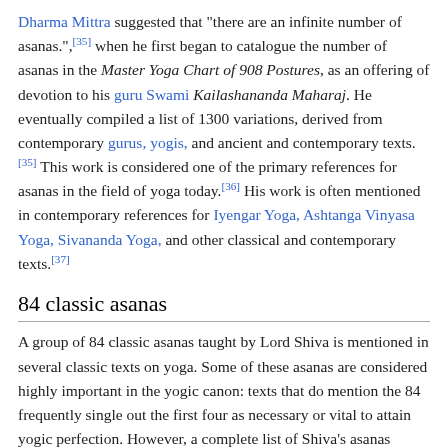Dharma Mittra suggested that "there are an infinite number of asanas.",[35] when he first began to catalogue the number of asanas in the Master Yoga Chart of 908 Postures, as an offering of devotion to his guru Swami Kailashananda Maharaj. He eventually compiled a list of 1300 variations, derived from contemporary gurus, yogis, and ancient and contemporary texts.[35] This work is considered one of the primary references for asanas in the field of yoga today.[36] His work is often mentioned in contemporary references for Iyengar Yoga, Ashtanga Vinyasa Yoga, Sivananda Yoga, and other classical and contemporary texts.[37]
84 classic asanas
A group of 84 classic asanas taught by Lord Shiva is mentioned in several classic texts on yoga. Some of these asanas are considered highly important in the yogic canon: texts that do mention the 84 frequently single out the first four as necessary or vital to attain yogic perfection. However, a complete list of Shiva's asanas remains as yet unverified, with only one text attempting a complete corpus.